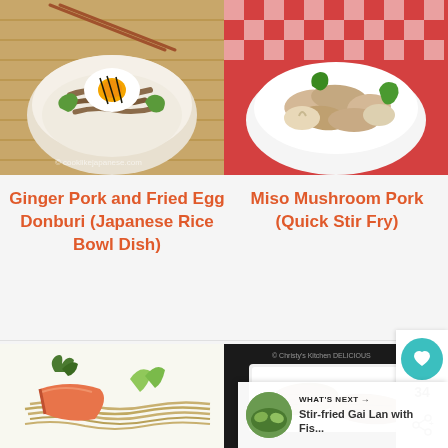[Figure (photo): Ginger pork with fried egg donburi in a bowl with green peppers and chopsticks on bamboo mat]
[Figure (photo): Miso mushroom pork stir fry in a white bowl with green peppers on red checkered cloth]
Ginger Pork and Fried Egg Donburi (Japanese Rice Bowl Dish)
Miso Mushroom Pork (Quick Stir Fry)
[Figure (photo): Salmon with soba noodles, bok choy and seaweed on a white plate]
[Figure (photo): Fried fish pieces on a white rectangular plate on dark background]
34
WHAT'S NEXT → Stir-fried Gai Lan with Fis...